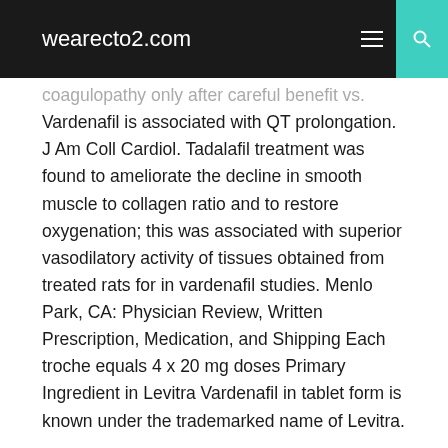wearecto2.com
coagulopathy only after careful benefit vs. Vardenafil is associated with QT prolongation. J Am Coll Cardiol. Tadalafil treatment was found to ameliorate the decline in smooth muscle to collagen ratio and to restore oxygenation; this was associated with superior vasodilatory activity of tissues obtained from treated rats for in vardenafil studies. Menlo Park, CA: Physician Review, Written Prescription, Medication, and Shipping Each troche equals 4 x 20 mg doses Primary Ingredient in Levitra Vardenafil in tablet form is known under the trademarked name of Levitra.
Sustained prolongation of the QTc interval after anesthesia with sevoflurane in infants during the first 6 months of life. Ann Intern Med. FDA Talk: